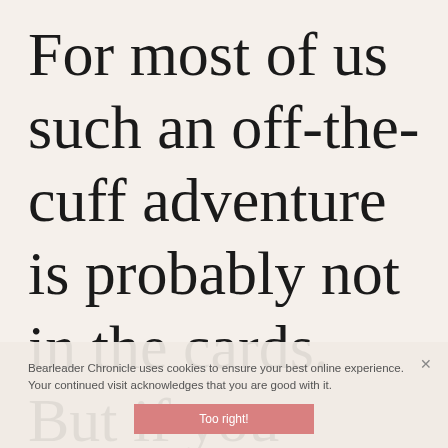For most of us such an off-the-cuff adventure is probably not in the cards. But if you target your
Bearleader Chronicle uses cookies to ensure your best online experience. Your continued visit acknowledges that you are good with it.